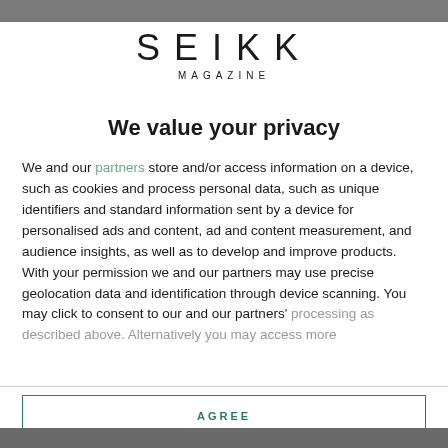SEIKK MAGAZINE
We value your privacy
We and our partners store and/or access information on a device, such as cookies and process personal data, such as unique identifiers and standard information sent by a device for personalised ads and content, ad and content measurement, and audience insights, as well as to develop and improve products. With your permission we and our partners may use precise geolocation data and identification through device scanning. You may click to consent to our and our partners' processing as described above. Alternatively you may access more
AGREE
MORE OPTIONS